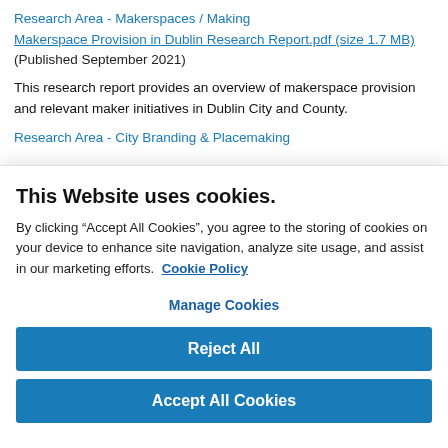Research Area - Makerspaces / Making
Makerspace Provision in Dublin Research Report.pdf (size 1.7 MB) (Published September 2021)
This research report provides an overview of makerspace provision and relevant maker initiatives in Dublin City and County.
Research Area - City Branding & Placemaking
This Website uses cookies.
By clicking “Accept All Cookies”, you agree to the storing of cookies on your device to enhance site navigation, analyze site usage, and assist in our marketing efforts.  Cookie Policy
Manage Cookies
Reject All
Accept All Cookies